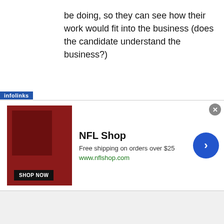be doing, so they can see how their work would fit into the business (does the candidate understand the business?)
You will learn more about the candidate by exposing them to the rest of your team than you ever could by sitting in your office. You'll learn how smart and how motivated they are by how they interact with you and your team, by the questions they ask, by the opinions they offer and by the skills they demonstrate. If you've really got a gem of a job applicant, they will dig in and show you how they'd do the
[Figure (other): NFL Shop advertisement banner with infolinks label, showing NFL merchandise image, shop now button, NFL Shop title, free shipping offer, www.nflshop.com URL, close button, and forward arrow button]